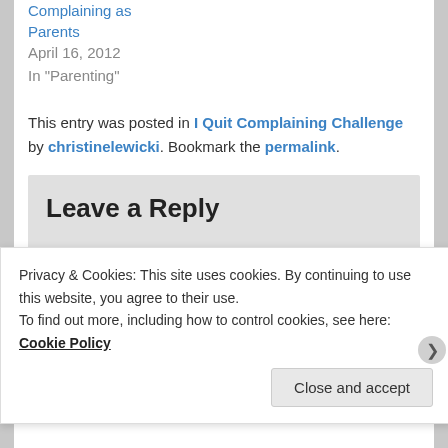Complaining as Parents
April 16, 2012
In "Parenting"
This entry was posted in I Quit Complaining Challenge by christinelewicki. Bookmark the permalink.
Leave a Reply
Your email address will not be published. Required fields are marked *
Privacy & Cookies: This site uses cookies. By continuing to use this website, you agree to their use.
To find out more, including how to control cookies, see here: Cookie Policy
Close and accept